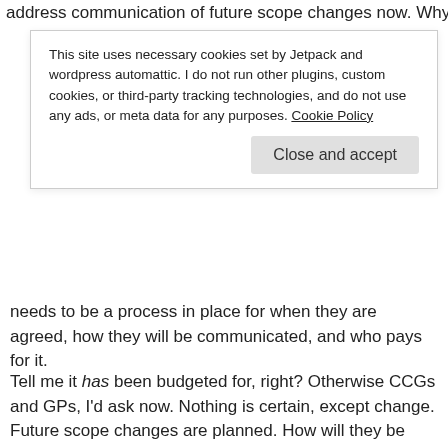address communication of future scope changes now. Why tell
This site uses necessary cookies set by Jetpack and wordpress automattic. I do not run other plugins, custom cookies, or third-party tracking technologies, and do not use any ads, or meta data for any purposes. Cookie Policy
Close and accept
needs to be a process in place for when they are agreed, how they will be communicated, and who pays for it.
Tell me it has been budgeted for, right? Otherwise CCGs and GPs, I'd ask now. Nothing is certain, except change. Future scope changes are planned. How will they be communicated and who pays for that ongoing update process?
Since I wrote this post, a local leaflet from the Leeds CCGs has been published on twitter. They have their own local care record, as well as national schemes on offer, so I'd say they made a decent attempt at explaining them all in one booklet. That said, there are some things that need fixed: